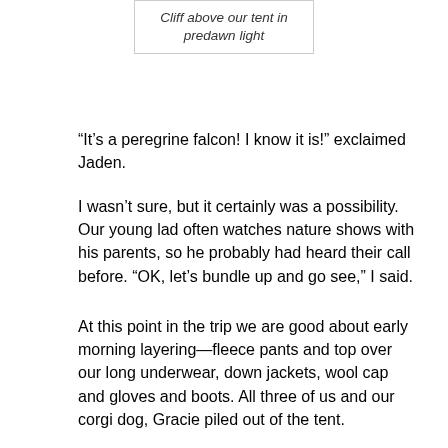Cliff above our tent in predawn light
“It’s a peregrine falcon! I know it is!” exclaimed Jaden.
I wasn't sure, but it certainly was a possibility. Our young lad often watches nature shows with his parents, so he probably had heard their call before. “OK, let’s bundle up and go see,” I said.
At this point in the trip we are good about early morning layering—fleece pants and top over our long underwear, down jackets, wool cap and gloves and boots. All three of us and our corgi dog, Gracie piled out of the tent.
“Rehk, rehk, rehk” continued the whistling, scolding call from the red canyon wall high above. I plunked Jaden down in a camp chair with the binoculars to scan the cliff top. Nina put hot water on the stove for tea and hot chocolate and I made a fire out of the wood Jaden had split the night before. Our corgi curled up on her chair next to Jaden. The thermometer on my pack registered 32 degrees F. The sun would not reach down to our campsite for another hour.